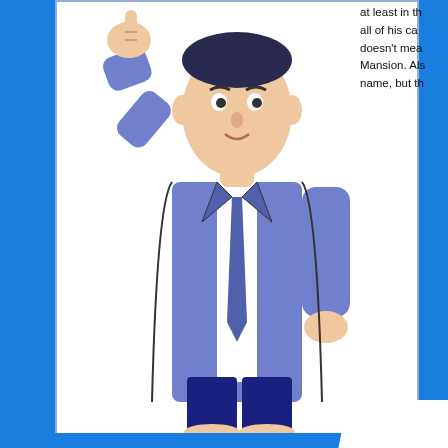[Figure (illustration): Cartoon illustration of a man in a blue suit with white shirt and tie, pointing upward with one finger. Shown from approximately waist up, with dark blue trousers visible at bottom.]
at least in th... all of his ca... doesn't mea... Mansion. Als... name, but th...
Mortimer
Mortimer is Sylvester's younger brother. He is likable, easy-going and cheerful, but he is also a Trouble Magnet juiced up with so much power that on a good (or bad) day he can draw off the problems of primitive tribesmen living